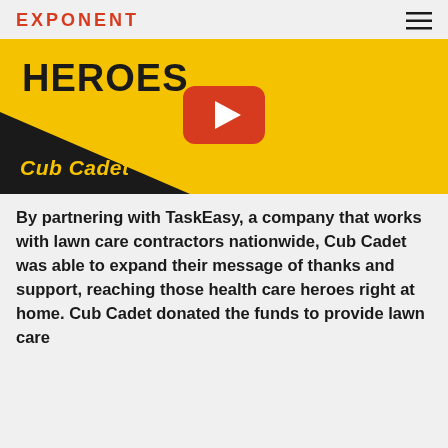EXPONENT
[Figure (screenshot): YouTube video thumbnail with yellow background. Text 'HEROES' in large bold black letters at top left. A red YouTube play button in the center. Black shape at bottom left with 'Cub Cadet.' logo in yellow italic text.]
By partnering with TaskEasy, a company that works with lawn care contractors nationwide, Cub Cadet was able to expand their message of thanks and support, reaching those health care heroes right at home. Cub Cadet donated the funds to provide lawn care